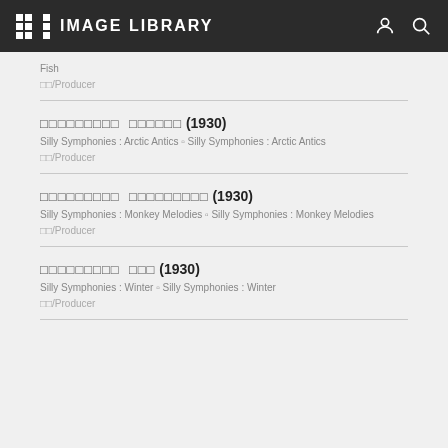IMAGE LIBRARY
Fish
□□/Producer
□□□□□□□□□ □□□□□□ (1930)
Silly Symphonies : Arctic Antics □ Silly Symphonies : Arctic Antics
□□/Producer
□□□□□□□□□ □□□□□□□□□ (1930)
Silly Symphonies : Monkey Melodies □ Silly Symphonies : Monkey Melodies
□□/Producer
□□□□□□□□□ □□□ (1930)
Silly Symphonies : Winter □ Silly Symphonies : Winter
□□/Producer